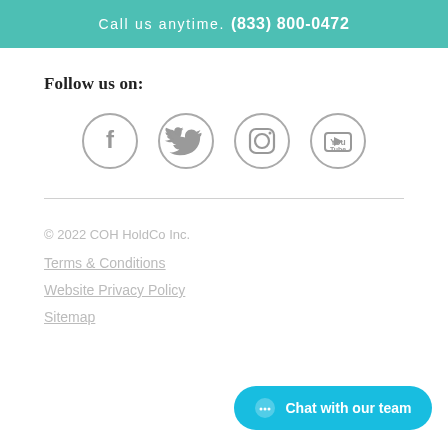Call us anytime. (833) 800-0472
Follow us on:
[Figure (illustration): Four social media icons in circles: Facebook, Twitter, Instagram, YouTube]
© 2022 COH HoldCo Inc.
Terms & Conditions
Website Privacy Policy
Sitemap
[Figure (infographic): Chat with our team button]